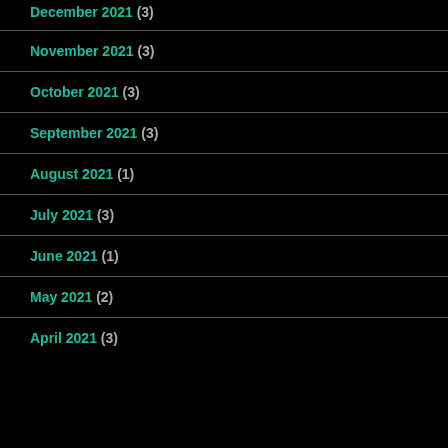December 2021 (3)
November 2021 (3)
October 2021 (3)
September 2021 (3)
August 2021 (1)
July 2021 (3)
June 2021 (1)
May 2021 (2)
April 2021 (3)